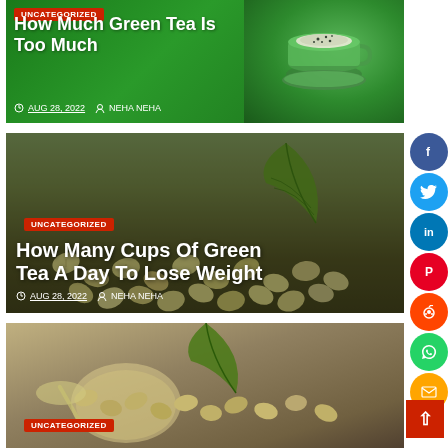[Figure (photo): Article card with green background showing a green tea cup with dark powder on top, right side. Overlay text shows article details.]
UNCATEGORIZED
How Much Green Tea Is Too Much
AUG 28, 2022   NEHA NEHA
[Figure (photo): Article card with green coffee/tea beans background and green leaf. Overlay text shows article details.]
UNCATEGORIZED
How Many Cups Of Green Tea A Day To Lose Weight
AUG 28, 2022   NEHA NEHA
[Figure (photo): Partial article card showing green coffee/tea beans and a green leaf on a plate.]
UNCATEGORIZED